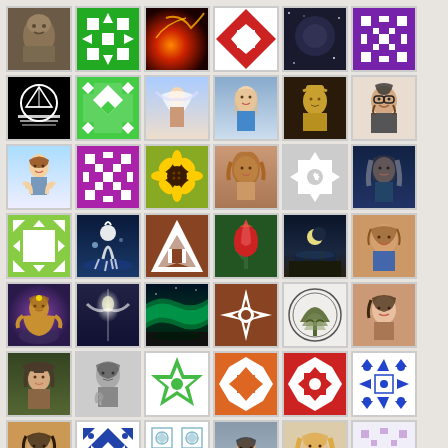[Figure (photo): Grid of profile pictures and decorative pattern tiles arranged in 8 rows of 6 columns. Row 1: stone statue bust, green pixel pattern, solar flare photo, red quilt pattern, dark cosmic photo, purple pixel pattern. Row 2: black/white circular logo, green diamond pattern, angel painting, blonde woman portrait, gold statue portrait, man with glasses portrait. Row 3: cartoon girl avatar, purple pixel pattern, sunflower photo, curly-haired woman portrait, gray snowflake pattern, dark-haired woman blue-toned. Row 4: green square pattern, blue horse fantasy scene, brown/white triangle pattern, red tulip photo, moonlit scene, smiling man portrait. Row 5: Buddha statue art, angel figure with light, green aurora photo, brown/white starburst pattern, tree emblem circle, young woman selfie. Row 6: woman in hat forest photo, gray-scale woman praying, green/white star pattern, orange/white quilt pattern, red/white quilt pattern, blue/white geometric pattern. Row 7: young Asian person portrait, blue diamond pattern, teal/white geometric pattern, woman in crowd photo, smiling blonde woman portrait, light purple pixel pattern. Row 8: partial row visible at bottom.]